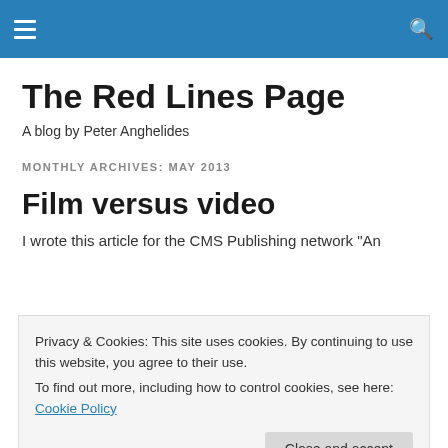The Red Lines Page — site navigation header with hamburger menu and search icon
The Red Lines Page
A blog by Peter Anghelides
MONTHLY ARCHIVES: MAY 2013
Film versus video
I wrote this article for the CMS Publishing network "An
Privacy & Cookies: This site uses cookies. By continuing to use this website, you agree to their use.
To find out more, including how to control cookies, see here: Cookie Policy
Close and accept
a gap almost twice as long as that.